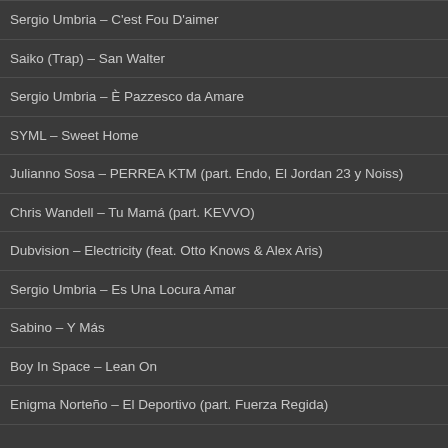Sergio Umbria – C'est Fou D'aimer
Saiko (Trap) – San Walter
Sergio Umbria – È Pazzesco da Amare
SYML – Sweet Home
Julianno Sosa – PERREA KTM (part. Endo, El Jordan 23 y Noiss)
Chris Wandell – Tu Mamá (part. KEVVO)
Dubvision – Electricity (feat. Otto Knows & Alex Aris)
Sergio Umbria – Es Una Locura Amar
Sabino – Y Más
Boy In Space – Lean On
Enigma Norteño – El Deportivo (part. Fuerza Regida)